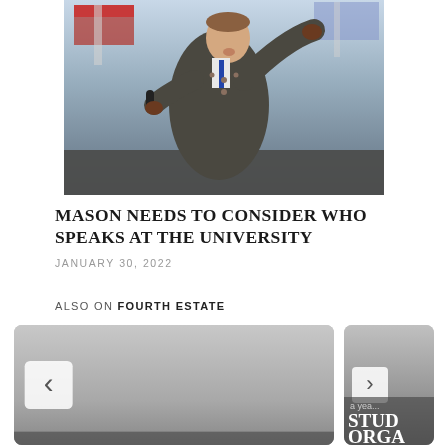[Figure (photo): A young man in a grey military-style jacket speaking at a podium or rally, holding a microphone, with American flags visible in the background.]
MASON NEEDS TO CONSIDER WHO SPEAKS AT THE UNIVERSITY
JANUARY 30, 2022
ALSO ON FOURTH ESTATE
[Figure (screenshot): Card thumbnail with navigation arrow (left chevron) and footer text: 10 months ago • 1 comment]
[Figure (screenshot): Card thumbnail with navigation arrow (right chevron), partial text 'a year ago', and large bold text 'STUD' and 'ORGA' visible (truncated article title)]